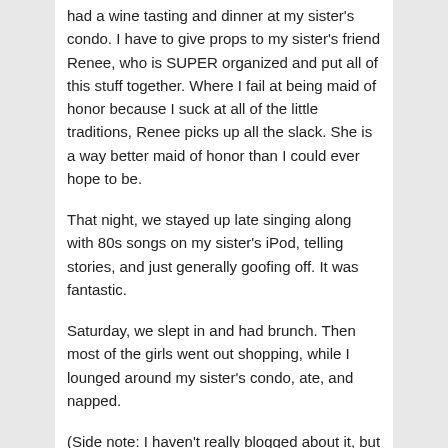had a wine tasting and dinner at my sister's condo. I have to give props to my sister's friend Renee, who is SUPER organized and put all of this stuff together. Where I fail at being maid of honor because I suck at all of the little traditions, Renee picks up all the slack. She is a way better maid of honor than I could ever hope to be.
That night, we stayed up late singing along with 80s songs on my sister's iPod, telling stories, and just generally goofing off. It was fantastic.
Saturday, we slept in and had brunch. Then most of the girls went out shopping, while I lounged around my sister's condo, ate, and napped.
(Side note: I haven't really blogged about it, but I've been dieting and working out a lot over the last couple months and I've been doing really well with it, but I decided that for one weekend, I was going to kick my diet to the curb. I ate carbs and cheese and drank booze and it was FANTASTIC. It was also surprisingly effective – by the time I got home on Sunday night, I couldn't wait to get